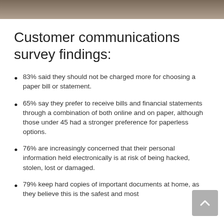[Figure (photo): Partial photo strip at top of page showing a blurred indoor scene]
Customer communications survey findings:
83% said they should not be charged more for choosing a paper bill or statement.
65% say they prefer to receive bills and financial statements through a combination of both online and on paper, although those under 45 had a stronger preference for paperless options.
76% are increasingly concerned that their personal information held electronically is at risk of being hacked, stolen, lost or damaged.
79% keep hard copies of important documents at home, as they believe this is the safest and most secure way to store their information.